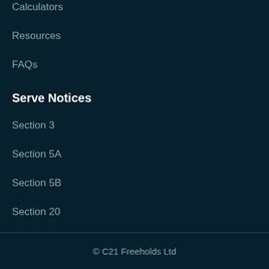Calculators
Resources
FAQs
Serve Notices
Section 3
Section 5A
Section 5B
Section 20
Section 166
© C21 Freeholds Ltd